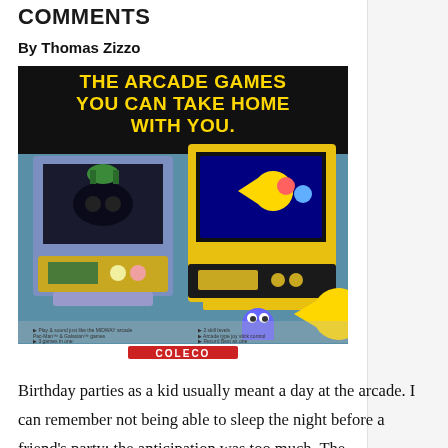COMMENTS
By Thomas Zizzo
[Figure (photo): Vintage Coleco tabletop arcade game advertisement featuring Pac-Man and Galaxian mini arcade cabinets. Text reads: 'THE ARCADE GAMES YOU CAN TAKE HOME WITH YOU.' with Coleco branding at bottom.]
Birthday parties as a kid usually meant a day at the arcade. I can remember not being able to sleep the night before a friend's party; the anticipation was too much. The